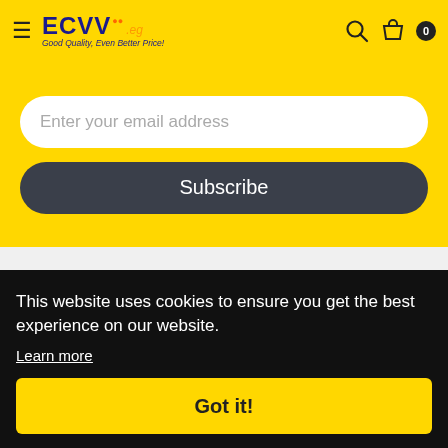[Figure (screenshot): ECVV.eg website header with logo, hamburger menu, search icon, and shopping bag icon with cart count 0]
Enter your email address
Subscribe
Working time: 9:30 am to 7:30 pm, Monday to Saturday (Excluding Public Holidays)
Cont
Shop
Co
This website uses cookies to ensure you get the best experience on our website.
Learn more
Got it!